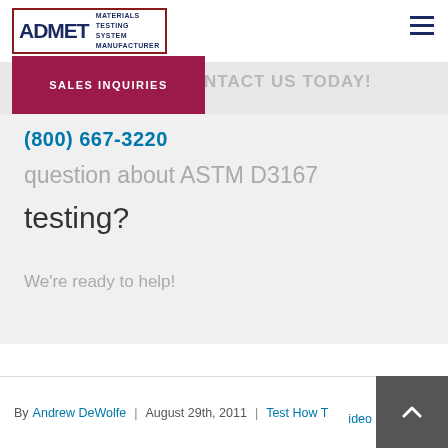[Figure (logo): ADMET logo with red border and tagline MATERIALS TESTING SYSTEM MANUFACTURER]
SALES INQUIRIES
NTACT US TODAY!
(800) 667-3220
question about ASTM D3167 testing?
We're ready to help!
By Andrew DeWolfe | August 29th, 2011 | Test How To Video